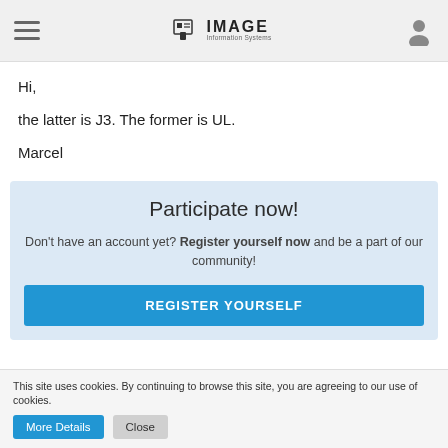IMAGE Information Systems
Hi,
the latter is J3. The former is UL.
Marcel
Participate now!
Don't have an account yet? Register yourself now and be a part of our community!
REGISTER YOURSELF
This site uses cookies. By continuing to browse this site, you are agreeing to our use of cookies.